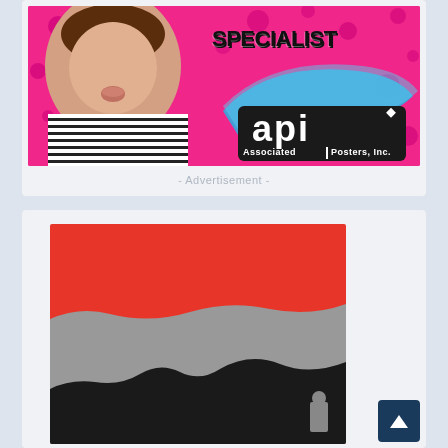[Figure (illustration): Advertisement banner for API (Associated Posters, Inc.) featuring a young woman with short hair making a kissy face against a hot-pink polka-dot background, with the text SPECIALIST and the API logo with text 'Associated Posters, Inc.' in a black rounded box with blue swoosh.]
- Advertisement -
[Figure (photo): Partially visible image showing a red, gray, and black abstract or landscape scene — appears to be the top portion of a photograph with a red upper section, gray middle section, and dark/black lower section, cut off at the bottom of the page.]